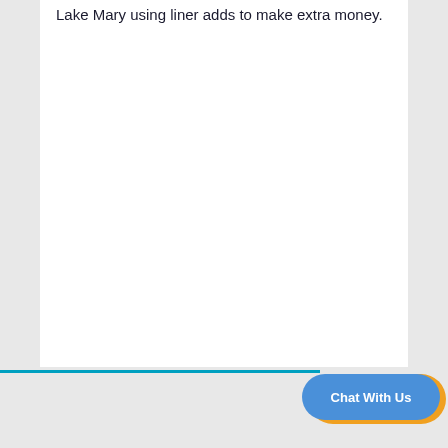Lake Mary using liner adds to make extra money.
[Figure (screenshot): White content area, mostly blank, with a partial sentence visible at the top reading 'Lake Mary using liner adds to make extra money.' followed by large empty white space.]
Chat With Us